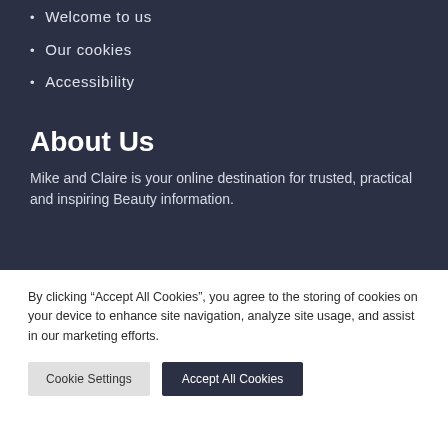Welcome to us
Our cookies
Accessibility
About Us
Mike and Claire is your online destination for trusted, practical and inspiring Beauty information.
By clicking “Accept All Cookies”, you agree to the storing of cookies on your device to enhance site navigation, analyze site usage, and assist in our marketing efforts.
Cookie Settings | Accept All Cookies